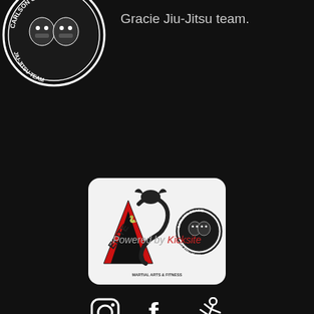[Figure (logo): Carlson Gracie Jiu-Jitsu Team circular logo, partially visible at top-left]
Gracie Jiu-Jitsu team.
[Figure (logo): Elite Martial Arts & Fitness combined with Carlson Gracie Jiu-Jitsu Team logo on white rounded rectangle card]
[Figure (other): Social media icons: Instagram, Facebook, and martial arts kicker icon]
Powered by Kicksite